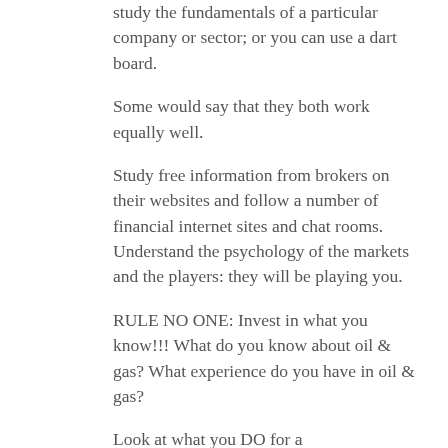study the fundamentals of a particular company or sector; or you can use a dart board.
Some would say that they both work equally well.
Study free information from brokers on their websites and follow a number of financial internet sites and chat rooms. Understand the psychology of the markets and the players: they will be playing you.
RULE NO ONE: Invest in what you know!!! What do you know about oil & gas? What experience do you have in oil & gas?
Look at what you DO for a